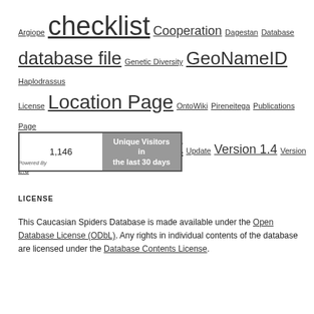Argiope checklist Cooperation Dagestan Database database file Genetic Diversity GeoNameID Haplodrassus License Location Page OntoWiki Pireneitega Publications Page Species Datasheet Update Version 1.4 Version 2.0
[Figure (other): Visitor counter widget showing 1,146 Unique Visitors in the last 30 days]
Powered By
LICENSE
This Caucasian Spiders Database is made available under the Open Database License (ODbL). Any rights in individual contents of the database are licensed under the Database Contents License.